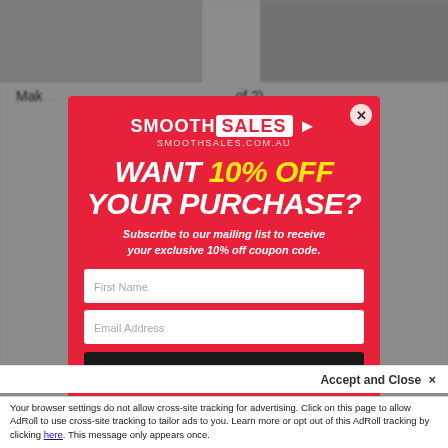[Figure (screenshot): Background webpage content with product images and text, partially visible behind modal overlay]
[Figure (infographic): Smooth Sales promotional modal popup with red background showing '10% OFF' offer, email subscription form with First Name and Email Address fields, and Subscribe button]
Accept and Close ×
Your browser settings do not allow cross-site tracking for advertising. Click on this page to allow AdRoll to use cross-site tracking to tailor ads to you. Learn more or opt out of this AdRoll tracking by clicking here. This message only appears once.